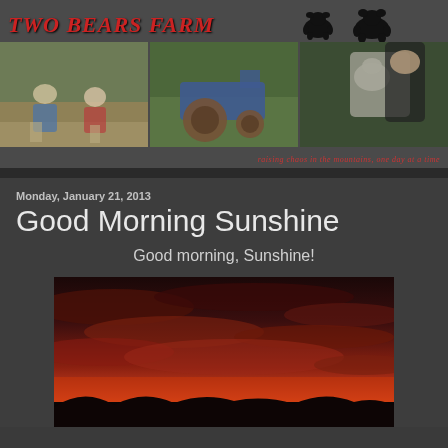TWO BEARS FARM
[Figure (photo): Blog header with three photos: two boys playing outdoors, a vintage blue tractor in grass, and a boy holding a possum; bear silhouettes top right; tagline text bottom right]
raising chaos in the mountains, one day at a time
Monday, January 21, 2013
Good Morning Sunshine
Good morning, Sunshine!
[Figure (photo): Dramatic red and orange sunrise/sunset sky with dark silhouetted landscape and clouds]